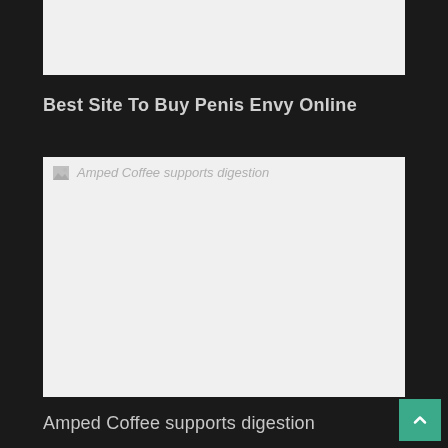[Figure (other): Top image placeholder block, light gray background]
Best Site To Buy Penis Envy Online
[Figure (photo): Broken image placeholder labeled 'Amped Coffee supports digestion' with gray background]
Amped Coffee supports digestion